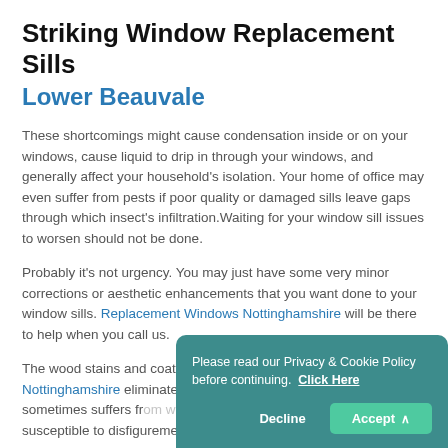Striking Window Replacement Sills
Lower Beauvale
These shortcomings might cause condensation inside or on your windows, cause liquid to drip in through your windows, and generally affect your household's isolation. Your home of office may even suffer from pests if poor quality or damaged sills leave gaps through which insect's infiltration.Waiting for your window sill issues to worsen should not be done.
Probably it's not urgency. You may just have some very minor corrections or aesthetic enhancements that you want done to your window sills. Replacement Windows Nottinghamshire will be there to help when you call us.
The wood stains and coatings that Replacement Windows Nottinghamshire eliminate the need for painting, but wood sometimes suffers from weathering, meaning that wood sills are susceptible to disfigurement like scraping or cracking
Please read our Privacy & Cookie Policy before continuing.  Click Here